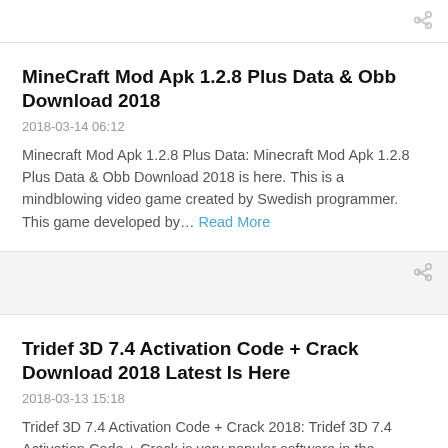MineCraft Mod Apk 1.2.8 Plus Data & Obb Download 2018
2018-03-14 06:12
Minecraft Mod Apk 1.2.8 Plus Data: Minecraft Mod Apk 1.2.8 Plus Data & Obb Download 2018 is here. This is a mindblowing video game created by Swedish programmer. This game developed by… Read More
Tridef 3D 7.4 Activation Code + Crack Download 2018 Latest Is Here
2018-03-13 15:18
Tridef 3D 7.4 Activation Code + Crack 2018: Tridef 3D 7.4 Activation Code + Crack is very popular software in the internet market. This software provides you to turn games, photos, videos i… Read More